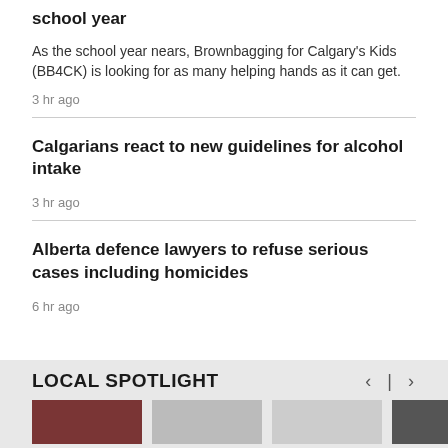school year
As the school year nears, Brownbagging for Calgary's Kids (BB4CK) is looking for as many helping hands as it can get.
3 hr ago
Calgarians react to new guidelines for alcohol intake
3 hr ago
Alberta defence lawyers to refuse serious cases including homicides
6 hr ago
LOCAL SPOTLIGHT